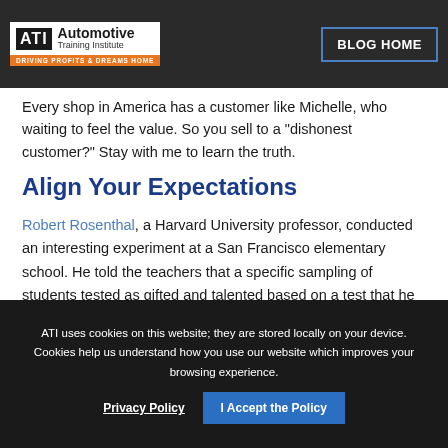ATI Automotive Training Institute | BLOG HOME
Every shop in America has a customer like Michelle, who waiting to feel the value. So you sell to a “dishonest customer?” Stay with me to learn the truth.
Align Your Expectations
Robert Rosenthal, a Harvard University professor, conducted an interesting experiment at a San Francisco elementary school. He told the teachers that a specific sampling of students tested as gifted and talented based on a test that he administered.
ATI uses cookies on this website; they are stored locally on your device. Cookies help us understand how you use our website which improves your browsing experience. Privacy Policy | I Accept the Policy